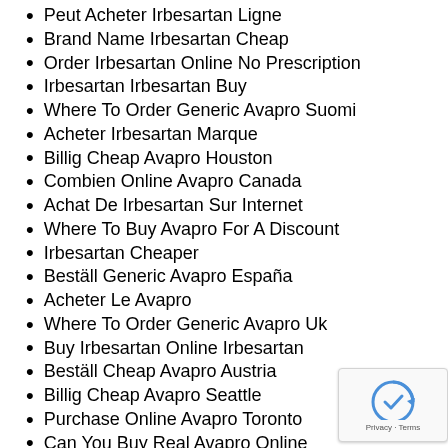Peut Acheter Irbesartan Ligne
Brand Name Irbesartan Cheap
Order Irbesartan Online No Prescription
Irbesartan Irbesartan Buy
Where To Order Generic Avapro Suomi
Acheter Irbesartan Marque
Billig Cheap Avapro Houston
Combien Online Avapro Canada
Achat De Irbesartan Sur Internet
Where To Buy Avapro For A Discount
Irbesartan Cheaper
Beställ Generic Avapro España
Acheter Le Avapro
Where To Order Generic Avapro Uk
Buy Irbesartan Online Irbesartan
Beställ Cheap Avapro Austria
Billig Cheap Avapro Seattle
Purchase Online Avapro Toronto
Can You Buy Real Avapro Online
Buy Online Avapro Atlanta